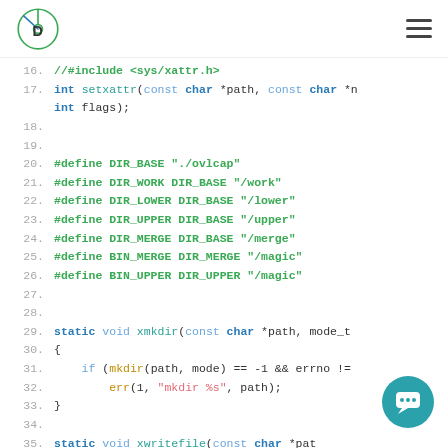Dasher logo and hamburger menu
[Figure (screenshot): Code snippet showing C source with line numbers 16-38, including setxattr declaration, DIR_BASE define macros, xmkdir and xwritefile static void function stubs]
[Figure (other): Teal circular chat support button in bottom-right corner]